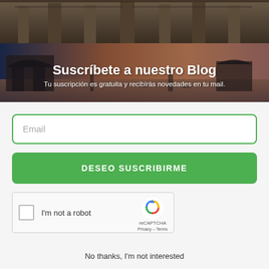[Figure (photo): Top hero section with two background photos: top strip showing ancient stone temple architecture, bottom section showing Indian architectural monument at sunset over water with orange/golden sky]
Suscríbete a nuestro Blog
Tu suscripción es gratuita y recibirás novedades en tu mail.
Email
DESEO SUSCRIBIRME
[Figure (other): reCAPTCHA widget with checkbox 'I'm not a robot' and reCAPTCHA logo with Privacy and Terms links]
No thanks, I'm not interested